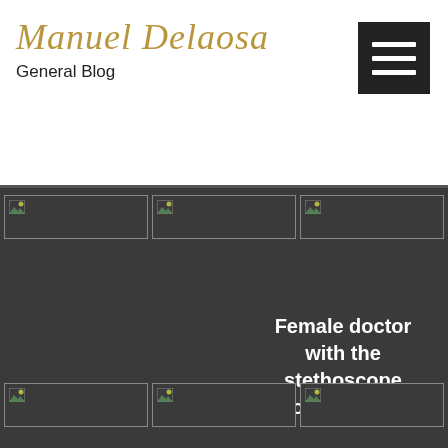Manuel Delaosa — General Blog
[Figure (screenshot): Blog website screenshot showing Manuel Delaosa General Blog header with hamburger menu, image thumbnail rows, and text 'Female doctor with the stethoscope holding heart']